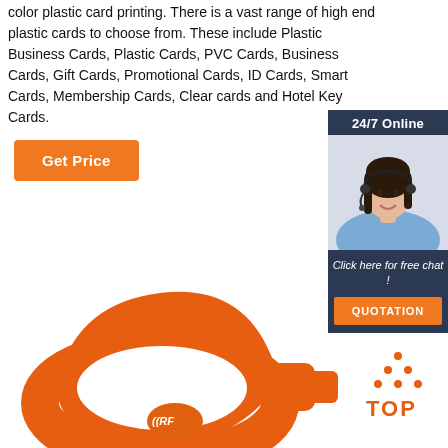color plastic card printing. There is a vast range of high end plastic cards to choose from. These include Plastic Business Cards, Plastic Cards, PVC Cards, Business Cards, Gift Cards, Promotional Cards, ID Cards, Smart Cards, Membership Cards, Clear cards and Hotel Key Cards.
Get Price
[Figure (screenshot): Chat widget with '24/7 Online' header, agent photo of a woman wearing a headset, 'Click here for free chat!' text, and an orange QUOTATION button]
[Figure (photo): Orange RFID silicone wristband with a chip/RFID label visible]
[Figure (logo): TOP logo with orange dots arranged in a triangle above the text TOP in orange]